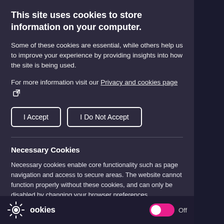This site uses cookies to store information on your computer.
Some of these cookies are essential, while others help us to improve your experience by providing insights into how the site is being used.
For more information visit our Privacy and cookies page [external link icon]
I Accept | I Do Not Accept (buttons)
Necessary Cookies
Necessary cookies enable core functionality such as page navigation and access to secure areas. The website cannot function properly without these cookies, and can only be disabled by changing your browser preferences.
Cookies  Off (toggle)